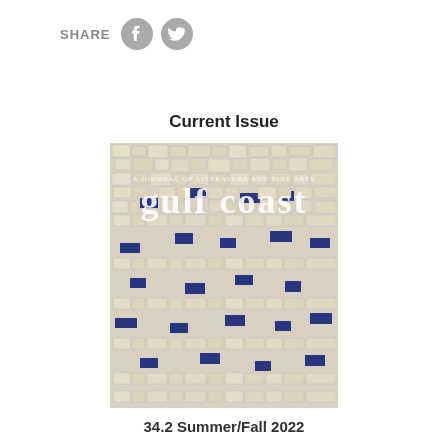[Figure (infographic): Share row with Facebook and Twitter circular grey icons next to SHARE label]
Current Issue
[Figure (photo): Cover of Gulf Coast journal issue 34.2 Summer/Fall 2022 showing a mosaic artwork with white and blue broken tile pieces and the text 'Gulf Coast: A Journal of Literature and Fine Arts']
34.2 Summer/Fall 2022